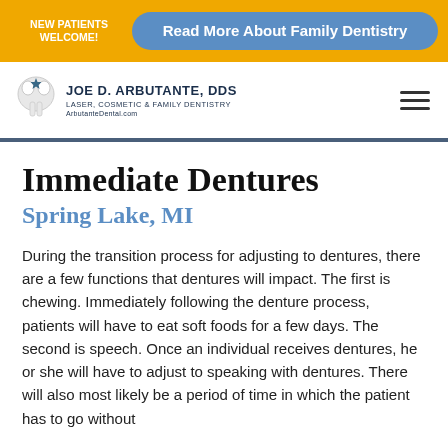NEW PATIENTS WELCOME! | Read More About Family Dentistry
[Figure (logo): Joe D. Arbutante DDS logo with tooth icon and text: JOE D. ARBUTANTE, DDS, LASER, COSMETIC & FAMILY DENTISTRY, ArbutanteDental.com]
Immediate Dentures
Spring Lake, MI
During the transition process for adjusting to dentures, there are a few functions that dentures will impact. The first is chewing. Immediately following the denture process, patients will have to eat soft foods for a few days. The second is speech. Once an individual receives dentures, he or she will have to adjust to speaking with dentures. There will also most likely be a period of time in which the patient has to go without